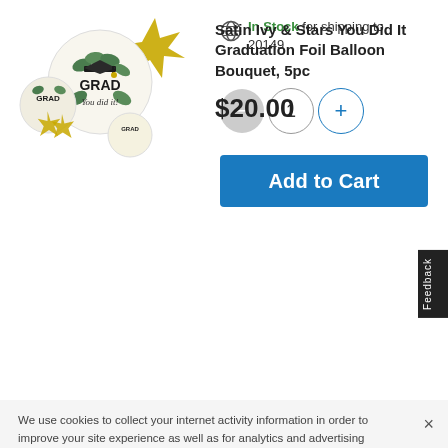In Stock for shipping to 20149
[Figure (illustration): Satin Ivy & Stars graduation foil balloon bouquet product image showing GRAD balloons with graduation cap and gold star balloons]
Satin Ivy & Stars You Did It Graduation Foil Balloon Bouquet, 5pc
$20.00
Feedback
We use cookies to collect your internet activity information in order to improve your site experience as well as for analytics and advertising purposes, in accordance with our Privacy Policy. To opt-out of the sharing of this information, click here.